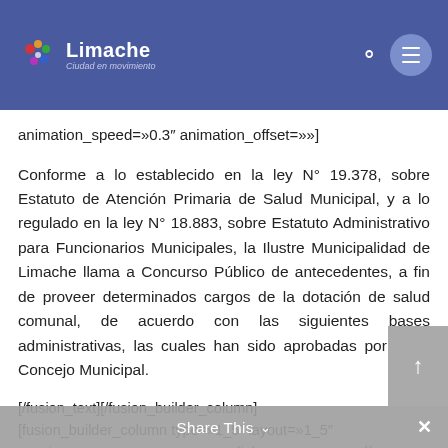Limache – Ciudad en movimiento
animation_speed=»0.3″ animation_offset=»»]
Conforme a lo establecido en la ley N° 19.378, sobre Estatuto de Atención Primaria de Salud Municipal, y a lo regulado en la ley N° 18.883, sobre Estatuto Administrativo para Funcionarios Municipales, la Ilustre Municipalidad de Limache llama a Concurso Público de antecedentes, a fin de proveer determinados cargos de la dotación de salud comunal, de acuerdo con las siguientes bases administrativas, las cuales han sido aprobadas por el H. Concejo Municipal.
[/fusion_text][/fusion_builder_column] [fusion_builder_column type=»1_5″ layout=»1_5″ spacing=»» center_content=»no» link=»» target=»_self» min_height=»» hide_on_mobile=»small-visibility,medium-visibility,large-visibility» class=»» id=»»